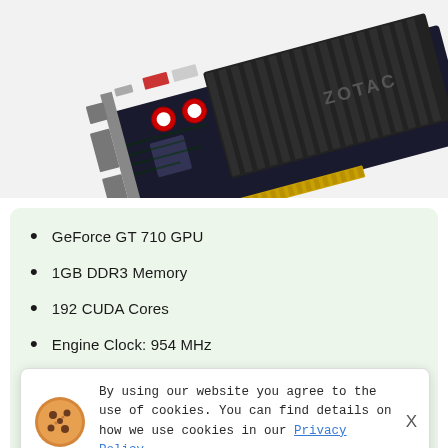[Figure (photo): ZOTAC GeForce GT 710 graphics card shown at an angle, with black PCB, heatsink with ZOTAC branding, DVI port, and gold edge connector.]
GeForce GT 710 GPU
1GB DDR3 Memory
192 CUDA Cores
Engine Clock: 954 MHz
By using our website you agree to the use of cookies. You can find details on how we use cookies in our Privacy Policy
PCI Express x 1